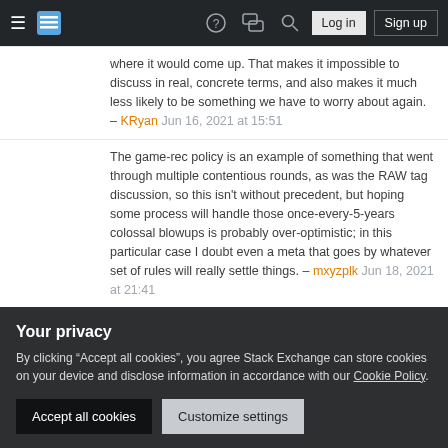Stack Exchange navigation bar with hamburger menu, logo, help, chat, search icons, Log in and Sign up buttons
where it would come up. That makes it impossible to discuss in real, concrete terms, and also makes it much less likely to be something we have to worry about again. – KRyan Jun 16, 2021 at 15:51
The game-rec policy is an example of something that went through multiple contentious rounds, as was the RAW tag discussion, so this isn’t without precedent, but hoping some process will handle those once-every-5-years colossal blowups is probably over-optimistic; in this particular case I doubt even a meta that goes by whatever set of rules will really settle things. – mxyzplk Jun 18, 2021 at 21:41
@mxyzplk Neither of those experienced reversals of voting totals between rounds of Meta discussion, I believe.
Your privacy
By clicking “Accept all cookies”, you agree Stack Exchange can store cookies on your device and disclose information in accordance with our Cookie Policy.
Accept all cookies
Customize settings